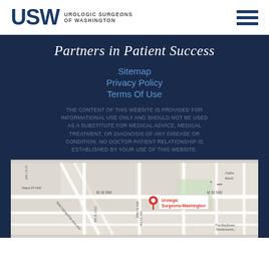[Figure (logo): USW Urologic Surgeons of Washington logo with hamburger menu icon]
Partners in Patient Success
Sitemap
Privacy Policy
Terms Of Use
THE CONTENT OF THIS WEBSITE IS PROVIDED FOR INFORMATIONAL USE ONLY AND SHOULD NOT BE USED AS A SUBSTITUTE FOR MEDICAL ADVICE, MEDICAL TREATMENT, OR DIAGNOSIS OF ANY DISEASE OR CONDITION. NO DOCTOR-PATIENT RELATIONSHIP IS ESTABLISHED BY YOUR USE OF THIS WEBSITE.
[Figure (map): Google Maps screenshot showing location of Urologic Surgeons-Washington near M St NW, Washington DC]